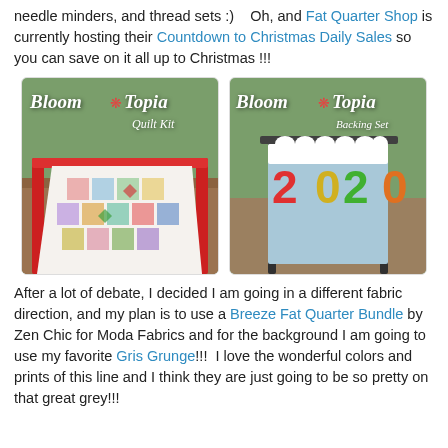needle minders, and thread sets :)    Oh, and Fat Quarter Shop is currently hosting their Countdown to Christmas Daily Sales so you can save on it all up to Christmas !!!
[Figure (photo): Two side-by-side product photos: left shows Bloom Topia Quilt Kit with a colorful quilt draped over a red porch swing outdoors; right shows Bloom Topia Backing Set with a light blue fabric draped over a chair showing '2020' text]
After a lot of debate, I decided I am going in a different fabric direction, and my plan is to use a Breeze Fat Quarter Bundle by Zen Chic for Moda Fabrics and for the background I am going to use my favorite Gris Grunge!!!  I love the wonderful colors and prints of this line and I think they are just going to be so pretty on that great grey!!!